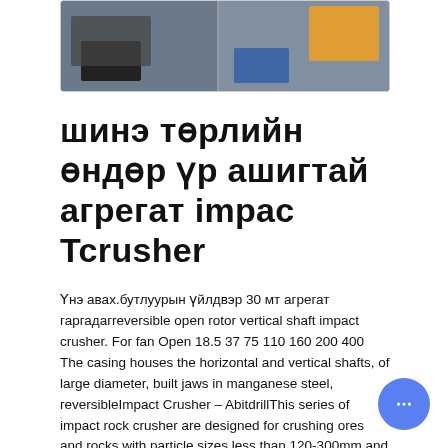[Figure (photo): Two industrial/manufacturing photos side by side showing heavy machinery and equipment]
шинэ төрлийн өндөр үр ашигтай агрегат impac Tcrusher
Үнэ авах.бутлуурын үйлдвэр 30 мт агрегат гаргадагreversible open rotor vertical shaft impact crusher. For fan Open 18.5 37 75 110 160 200 400 The casing houses the horizontal and vertical shafts, of large diameter, built jaws in manganese steel, reversibleImpact Crusher – AbitdrillThis series of impact rock crusher are designed for crushing ores and rocks with particle sizes less than 120-300mm and compression strength no more than 320 Mpa. Mobile impact crusher for sale has a feature of big price reduction ratio, high efficiency, cubic ...Impact Crusher overview | ScienceDirect TopicsImpact Crusher. The crusher (typically PE series) is widely used and of high production efficiency and good safety performance.The